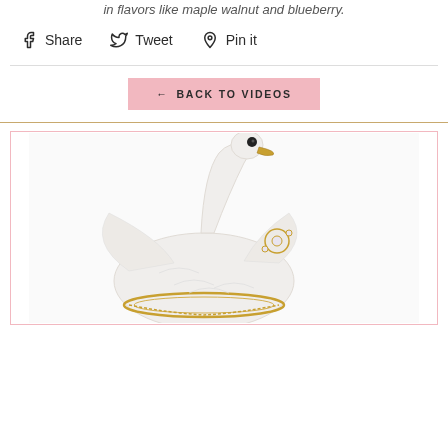in flavors like maple walnut and blueberry.
Share  Tweet  Pin it
← BACK TO VIDEOS
[Figure (photo): A white decorative swan figurine with golden beak, black eye detail, and ornate golden jeweled accessories at its base and chest, photographed on a white background inside a pink-bordered frame.]